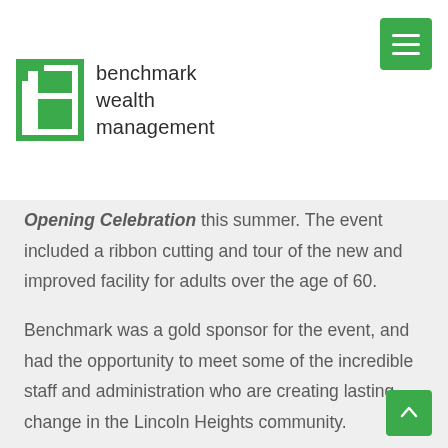[Figure (logo): Benchmark Wealth Management logo with a green letter 'b' and company name text, plus a green hamburger menu icon in the top right]
Opening Celebration this summer. The event included a ribbon cutting and tour of the new and improved facility for adults over the age of 60.
Benchmark was a gold sponsor for the event, and had the opportunity to meet some of the incredible staff and administration who are creating lasting change in the Lincoln Heights community.
The Adult Day Service program provides social, light physical, and therapeutic activities that are structured to support the seniors' individual health and independence goals. Supervision, hands on